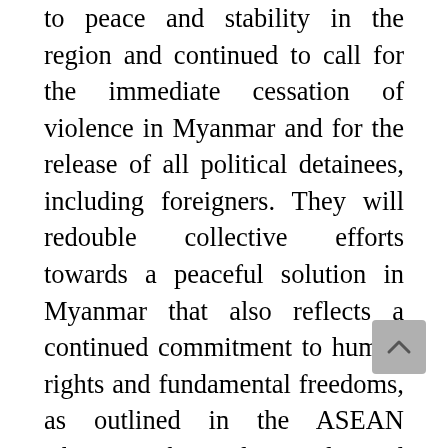to peace and stability in the region and continued to call for the immediate cessation of violence in Myanmar and for the release of all political detainees, including foreigners. They will redouble collective efforts towards a peaceful solution in Myanmar that also reflects a continued commitment to human rights and fundamental freedoms, as outlined in the ASEAN Charter. They also welcomed close coordination between the Special Envoy of the ASEAN Chair on Myanmar and the Special Envoy of the UN Secretary-General on Myanmar to ensure synergy in this important endeavor.